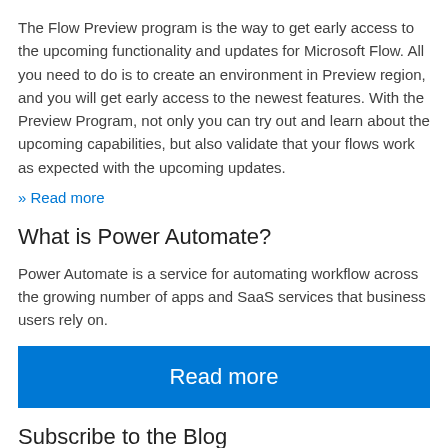The Flow Preview program is the way to get early access to the upcoming functionality and updates for Microsoft Flow. All you need to do is to create an environment in Preview region, and you will get early access to the newest features. With the Preview Program, not only you can try out and learn about the upcoming capabilities, but also validate that your flows work as expected with the upcoming updates.
» Read more
What is Power Automate?
Power Automate is a service for automating workflow across the growing number of apps and SaaS services that business users rely on.
Read more
Subscribe to the Blog